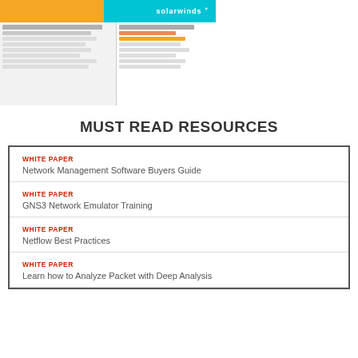[Figure (screenshot): SolarWinds application screenshot showing network management dashboard with teal banner and data tables]
MUST READ RESOURCES
WHITE PAPER
Network Management Software Buyers Guide
WHITE PAPER
GNS3 Network Emulator Training
WHITE PAPER
Netflow Best Practices
WHITE PAPER
Learn how to Analyze Packet with Deep Analysis